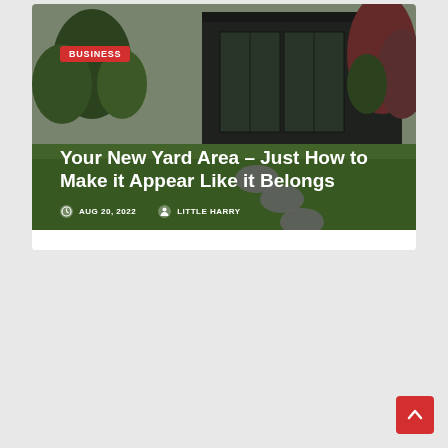[Figure (photo): A garden/yard scene showing a dark modern outbuilding/shed with large glass doors, surrounded by green lawn with circular stepping stones, trees and shrubs in the background. Overlaid with article card: category badge 'BUSINESS', article title 'Your New Yard Area – Just How to Make it Appear Like it Belongs', date 'AUG 20, 2022', author 'LITTLE HARRY'.]